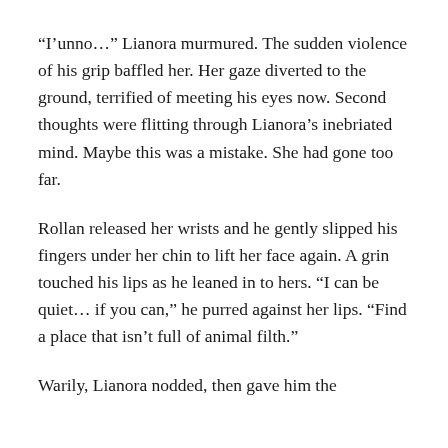“I’unno…” Lianora murmured. The sudden violence of his grip baffled her. Her gaze diverted to the ground, terrified of meeting his eyes now. Second thoughts were flitting through Lianora’s inebriated mind. Maybe this was a mistake. She had gone too far.
Rollan released her wrists and he gently slipped his fingers under her chin to lift her face again. A grin touched his lips as he leaned in to hers. “I can be quiet… if you can,” he purred against her lips. “Find a place that isn’t full of animal filth.”
Warily, Lianora nodded, then gave him the